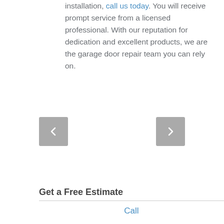installation, call us today. You will receive prompt service from a licensed professional. With our reputation for dedication and excellent products, we are the garage door repair team you can rely on.
[Figure (other): Navigation previous and next arrow buttons (grey rounded square buttons with left and right chevron arrows)]
Get a Free Estimate
Call